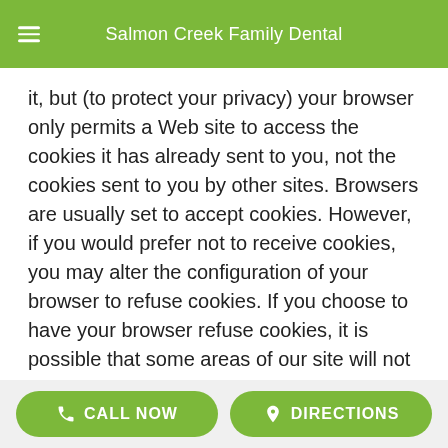Salmon Creek Family Dental
it, but (to protect your privacy) your browser only permits a Web site to access the cookies it has already sent to you, not the cookies sent to you by other sites. Browsers are usually set to accept cookies. However, if you would prefer not to receive cookies, you may alter the configuration of your browser to refuse cookies. If you choose to have your browser refuse cookies, it is possible that some areas of our site will not function as effectively when viewed by the users. A cookie cannot retrieve any other data from your hard drive or pass on computer viruses.
How Do We Use Information We Collect from Cookies?
As you visit and browse our Web site, the site uses cookies
CALL NOW   DIRECTIONS